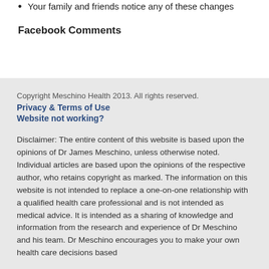Your family and friends notice any of these changes
Facebook Comments
Copyright Meschino Health 2013. All rights reserved.
Privacy & Terms of Use
Website not working?
Disclaimer: The entire content of this website is based upon the opinions of Dr James Meschino, unless otherwise noted. Individual articles are based upon the opinions of the respective author, who retains copyright as marked. The information on this website is not intended to replace a one-on-one relationship with a qualified health care professional and is not intended as medical advice. It is intended as a sharing of knowledge and information from the research and experience of Dr Meschino and his team. Dr Meschino encourages you to make your own health care decisions based